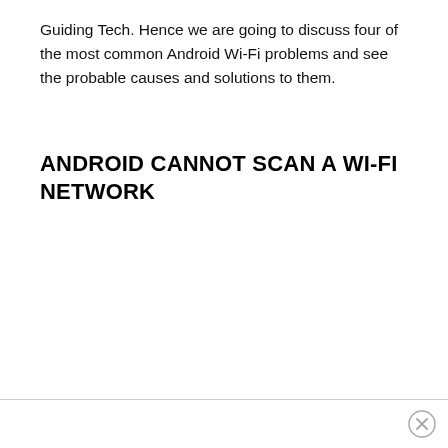Guiding Tech. Hence we are going to discuss four of the most common Android Wi-Fi problems and see the probable causes and solutions to them.
ANDROID CANNOT SCAN A WI-FI NETWORK